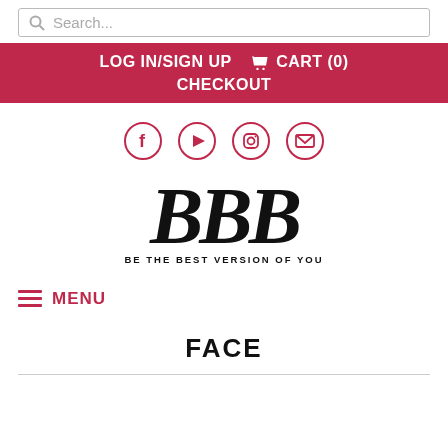Search...
LOG IN/SIGN UP   CART (0)   CHECKOUT
[Figure (illustration): Social media icons: Facebook, YouTube, Instagram, Email in crimson circle outlines]
[Figure (logo): BBB logo with stylized script letters and tagline BE THE BEST VERSION OF YOU]
≡ MENU
FACE